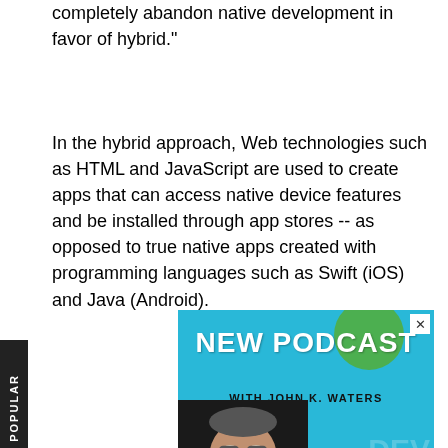completely abandon native development in favor of hybrid."
In the hybrid approach, Web technologies such as HTML and JavaScript are used to create apps that can access native device features and be installed through app stores -- as opposed to true native apps created with programming languages such as Swift (iOS) and Java (Android).
[Figure (photo): Advertisement banner for a podcast. Cyan/teal background with 'NEW PODCAST WITH JOHN K. WATERS' text in large bold white letters. Shows a photo of a man (John K. Waters) and background text showing DEV, DEVOPS, ROBOTICS... keywords. Has a close (X) button in top right corner.]